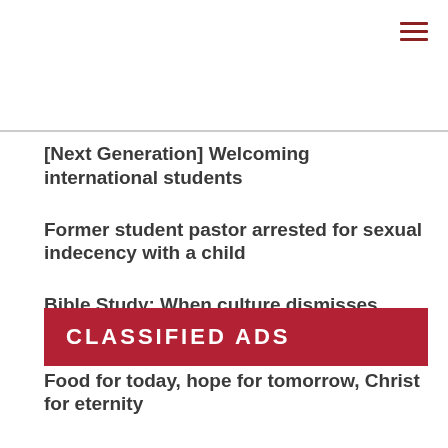[Next Generation] Welcoming international students
Former student pastor arrested for sexual indecency with a child
Bible Study: When culture dismisses Scripture
Food for today, hope for tomorrow, Christ for eternity
CLASSIFIED ADS